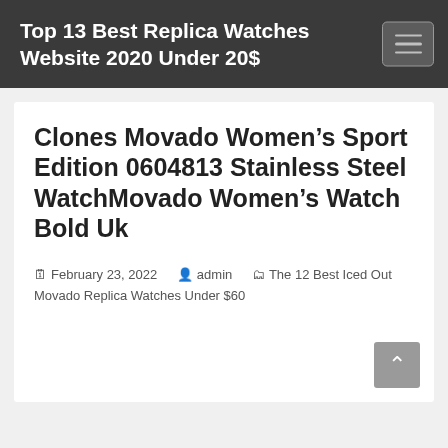Top 13 Best Replica Watches Website 2020 Under 20$
Clones Movado Women’s Sport Edition 0604813 Stainless Steel WatchMovado Women’s Watch Bold Uk
February 23, 2022  admin  The 12 Best Iced Out Movado Replica Watches Under $60